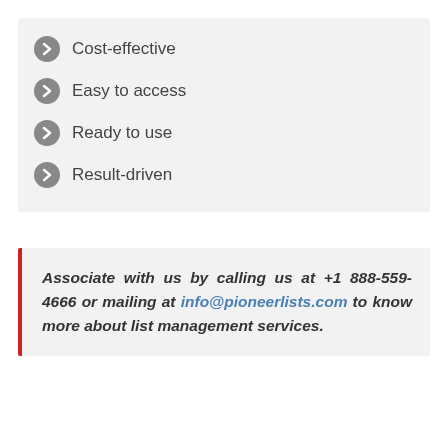Cost-effective
Easy to access
Ready to use
Result-driven
Associate with us by calling us at +1 888-559-4666 or mailing at info@pioneerlists.com to know more about list management services.